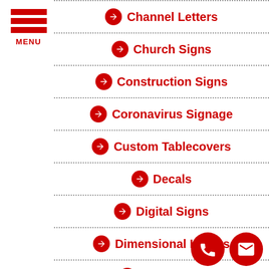[Figure (logo): Hamburger menu icon with three red bars and MENU label]
Channel Letters
Church Signs
Construction Signs
Coronavirus Signage
Custom Tablecovers
Decals
Digital Signs
Dimensional Letters
Door Signs